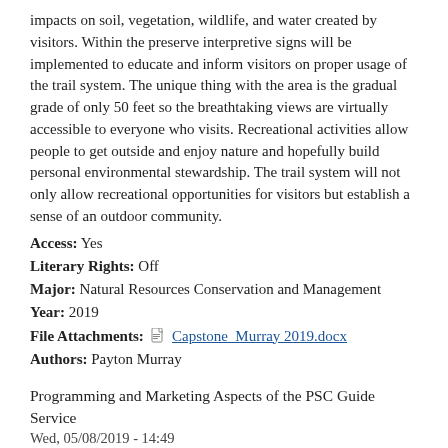impacts on soil, vegetation, wildlife, and water created by visitors. Within the preserve interpretive signs will be implemented to educate and inform visitors on proper usage of the trail system. The unique thing with the area is the gradual grade of only 50 feet so the breathtaking views are virtually accessible to everyone who visits. Recreational activities allow people to get outside and enjoy nature and hopefully build personal environmental stewardship. The trail system will not only allow recreational opportunities for visitors but establish a sense of an outdoor community.
Access: Yes
Literary Rights: Off
Major: Natural Resources Conservation and Management
Year: 2019
File Attachments: Capstone_Murray 2019.docx
Authors: Payton Murray
Programming and Marketing Aspects of the PSC Guide Service
Wed, 05/08/2019 - 14:49
Abstract: Research the existing and potential development of a marketing plan for the PSC guiding business, including activity specific materials. As well as, expanding the expeditions or trip experience branch of services to include all season activities with the consideration of market